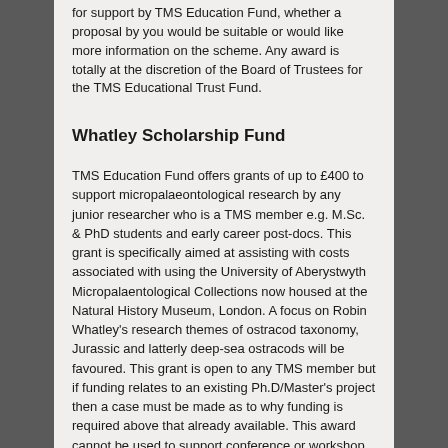for support by TMS Education Fund, whether a proposal by you would be suitable or would like more information on the scheme. Any award is totally at the discretion of the Board of Trustees for the TMS Educational Trust Fund.
Whatley Scholarship Fund
TMS Education Fund offers grants of up to £400 to support micropalaeontological research by any junior researcher who is a TMS member e.g. M.Sc. & PhD students and early career post-docs. This grant is specifically aimed at assisting with costs associated with using the University of Aberystwyth Micropalaentological Collections now housed at the Natural History Museum, London. A focus on Robin Whatley's research themes of ostracod taxonomy, Jurassic and latterly deep-sea ostracods will be favoured. This grant is open to any TMS member but if funding relates to an existing Ph.D/Master's project then a case must be made as to why funding is required above that already available. This award cannot be used to support conference or workshop attendance.